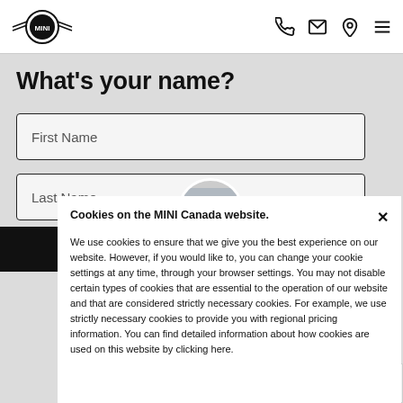MINI Canada website header with logo and navigation icons
What's your name?
First Name
Last Name
Cookies on the MINI Canada website.
We use cookies to ensure that we give you the best experience on our website. However, if you would like to, you can change your cookie settings at any time, through your browser settings. You may not disable certain types of cookies that are essential to the operation of our website and that are considered strictly necessary cookies. For example, we use strictly necessary cookies to provide you with regional pricing information. You can find detailed information about how cookies are used on this website by clicking here.